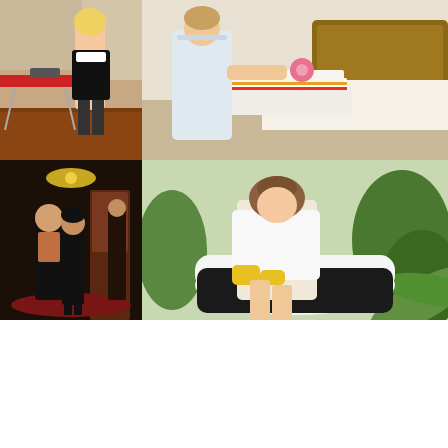[Figure (photo): Woman in maid costume ironing clothes on an ironing board in a kitchen setting]
[Figure (photo): Hotel maid in white uniform arranging folded towels with a pink flower on a hotel bed]
[Figure (photo): Man and woman in black clothing dancing or posing in a dark ornate room]
[Figure (photo): Young woman in white shirt and yellow gloves cleaning a bathtub, surrounded by plants]
[Figure (photo): Woman with dark hair lying on white pillows in a bedroom setting]